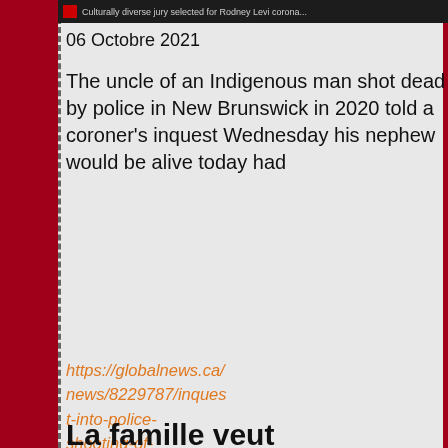[Figure (screenshot): Dark thumbnail image with red play button icon and text: 'Culturally diverse jury selected for Rodney Levi corona...']
06 Octobre 2021
The uncle of an Indigenous man shot dead by police in New Brunswick in 2020 told a coroner's inquest Wednesday his nephew would be alive today had
https://globalnews.ca/news/8229787/inquest-into-police-shooting-of-indigenous-n-...
Lire la suite
La famille veut